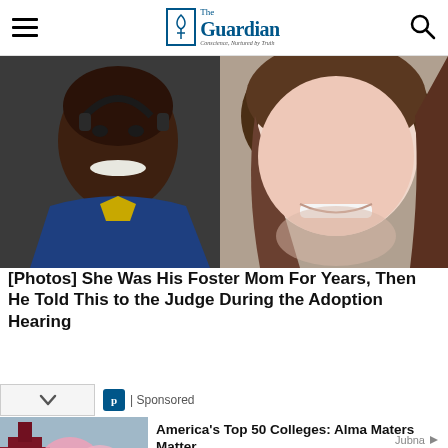The Guardian — Conscience, Nurtured by Truth
[Figure (photo): Two people taking a selfie — a young Black man wearing a blue and yellow jacket on the left, and a white woman with brown hair smiling on the right.]
[Photos] She Was His Foster Mom For Years, Then He Told This to the Judge During the Adoption Hearing
| Sponsored
[Figure (photo): Outdoor campus or park scene with cherry blossom trees in bloom and people walking on the grounds.]
America's Top 50 Colleges: Alma Maters Matter
Forbes | Sponsored
Jubna